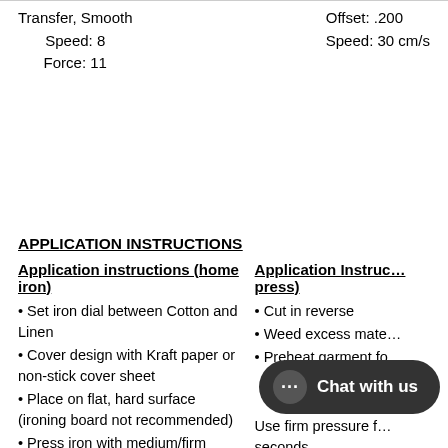Transfer, Smooth
Speed: 8
Force: 11
Offset: .200
Speed: 30 cm/s
APPLICATION INSTRUCTIONS
Application instructions (home iron)
Application Instructions (heat press)
• Set iron dial between Cotton and Linen
• Cover design with Kraft paper or non-stick cover sheet
• Cut in reverse
• Weed excess mate…
• Place on flat, hard surface (ironing board not recommended)
• Preheat garment fo…
• Press iron with medium/firm pressure … (do not slide iron)
… at 320 … Use firm pressure f…
• Press each section of design for 10-15 seconds seconds